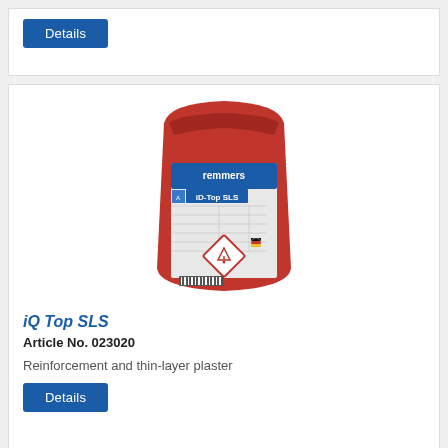Details (button)
[Figure (photo): Red bag of Remmers iD-Top SLS reinforcement and thin-layer plaster product, with white label showing product name, hazard symbol, and barcode]
iQ Top SLS
Article No. 023020
Reinforcement and thin-layer plaster
Details (button)